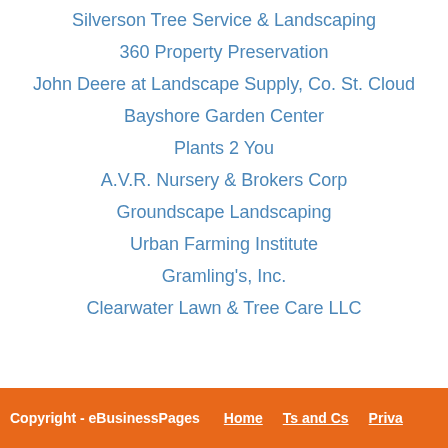Silverson Tree Service & Landscaping
360 Property Preservation
John Deere at Landscape Supply, Co. St. Cloud
Bayshore Garden Center
Plants 2 You
A.V.R. Nursery & Brokers Corp
Groundscape Landscaping
Urban Farming Institute
Gramling's, Inc.
Clearwater Lawn & Tree Care LLC
Copyright - eBusinessPages    Home    Ts and Cs    Priva